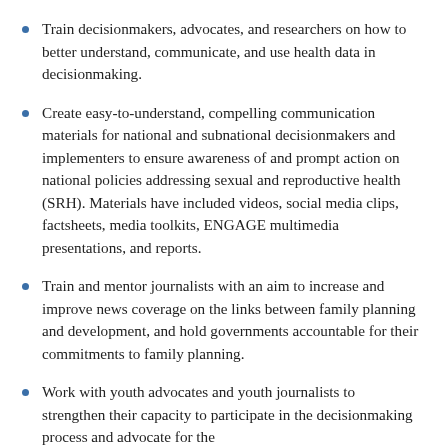Train decisionmakers, advocates, and researchers on how to better understand, communicate, and use health data in decisionmaking.
Create easy-to-understand, compelling communication materials for national and subnational decisionmakers and implementers to ensure awareness of and prompt action on national policies addressing sexual and reproductive health (SRH). Materials have included videos, social media clips, factsheets, media toolkits, ENGAGE multimedia presentations, and reports.
Train and mentor journalists with an aim to increase and improve news coverage on the links between family planning and development, and hold governments accountable for their commitments to family planning.
Work with youth advocates and youth journalists to strengthen their capacity to participate in the decisionmaking process and advocate for...